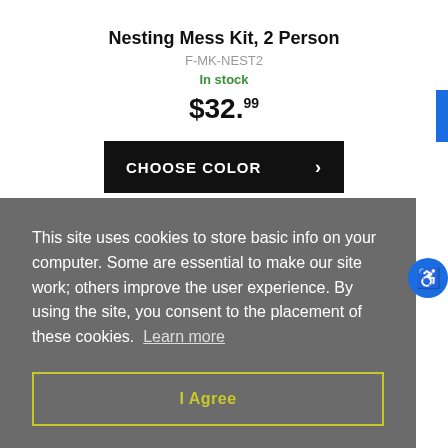Nesting Mess Kit, 2 Person
F-MK-NEST2
In stock
$32.99
CHOOSE COLOR ›
This site uses cookies to store basic info on your computer. Some are essential to make our site work; others improve the user experience. By using the site, you consent to the placement of these cookies. Learn more
I Agree